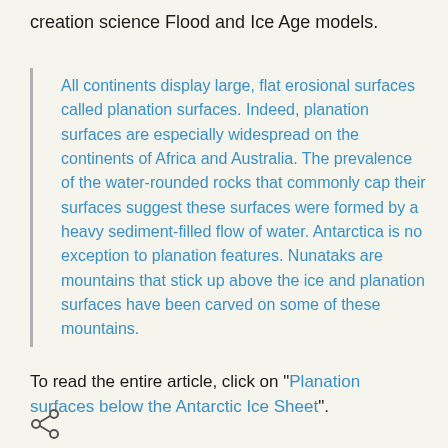creation science Flood and Ice Age models.
All continents display large, flat erosional surfaces called planation surfaces. Indeed, planation surfaces are especially widespread on the continents of Africa and Australia. The prevalence of the water-rounded rocks that commonly cap their surfaces suggest these surfaces were formed by a heavy sediment-filled flow of water. Antarctica is no exception to planation features. Nunataks are mountains that stick up above the ice and planation surfaces have been carved on some of these mountains.
To read the entire article, click on "Planation surfaces below the Antarctic Ice Sheet".